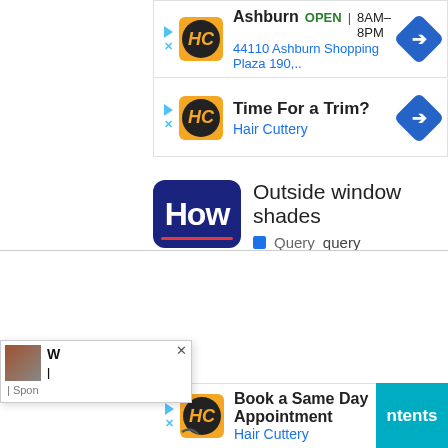[Figure (screenshot): Hair Cuttery ad banner showing Ashburn location, OPEN 8AM-8PM, address 44110 Ashburn Shopping Plaza 190, with HC logo and navigation arrow]
[Figure (screenshot): Hair Cuttery ad banner: Time For a Trim? Hair Cuttery, with HC logo and navigation arrow]
Outside window shades
Query  query
[Figure (screenshot): Partial popup overlay with close X button, partial image of person, text lines and Sponsored label]
[Figure (screenshot): Hair Cuttery ad banner: Book a Same Day Appointment, Hair Cuttery, with HC logo, navigation arrow, and teal ntents button]